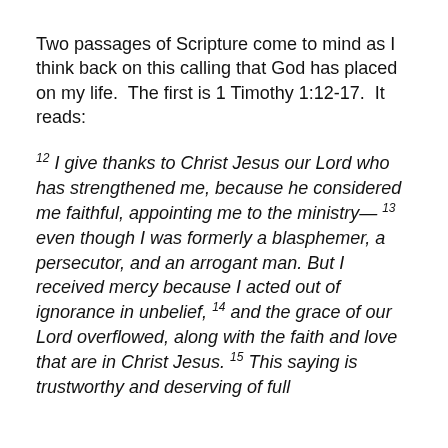Two passages of Scripture come to mind as I think back on this calling that God has placed on my life.  The first is 1 Timothy 1:12-17.  It reads:
12 I give thanks to Christ Jesus our Lord who has strengthened me, because he considered me faithful, appointing me to the ministry— 13 even though I was formerly a blasphemer, a persecutor, and an arrogant man. But I received mercy because I acted out of ignorance in unbelief, 14 and the grace of our Lord overflowed, along with the faith and love that are in Christ Jesus. 15 This saying is trustworthy and deserving of full